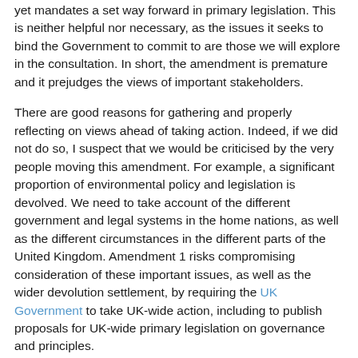yet mandates a set way forward in primary legislation. This is neither helpful nor necessary, as the issues it seeks to bind the Government to commit to are those we will explore in the consultation. In short, the amendment is premature and it prejudges the views of important stakeholders.
There are good reasons for gathering and properly reflecting on views ahead of taking action. Indeed, if we did not do so, I suspect that we would be criticised by the very people moving this amendment. For example, a significant proportion of environmental policy and legislation is devolved. We need to take account of the different government and legal systems in the home nations, as well as the different circumstances in the different parts of the United Kingdom. Amendment 1 risks compromising consideration of these important issues, as well as the wider devolution settlement, by requiring the UK Government to take UK-wide action, including to publish proposals for UK-wide primary legislation on governance and principles.
The government consultation is concerned with England and reserved matters throughout the United Kingdom, for which responsibility sits in Westminster. However, we are exploring with the devolved Administrations whether they wish to take a similar approach, and would welcome the opportunity to co-design proposals to ensure that they work well across the whole of the United Kingdom. We would also